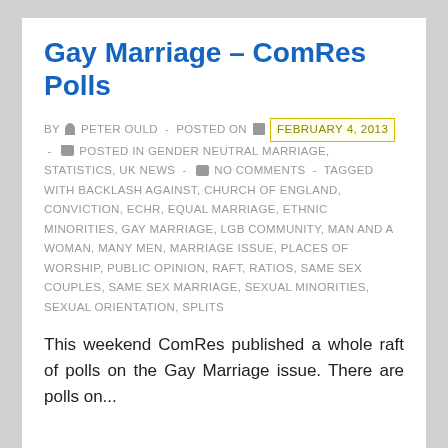Gay Marriage – ComRes Polls
BY PETER OULD - POSTED ON FEBRUARY 4, 2013 - POSTED IN GENDER NEUTRAL MARRIAGE, STATISTICS, UK NEWS - NO COMMENTS - TAGGED WITH BACKLASH AGAINST, CHURCH OF ENGLAND, CONVICTION, ECHR, EQUAL MARRIAGE, ETHNIC MINORITIES, GAY MARRIAGE, LGB COMMUNITY, MAN AND A WOMAN, MANY MEN, MARRIAGE ISSUE, PLACES OF WORSHIP, PUBLIC OPINION, RAFT, RATIOS, SAME SEX COUPLES, SAME SEX MARRIAGE, SEXUAL MINORITIES, SEXUAL ORIENTATION, SPLITS
This weekend ComRes published a whole raft of polls on the Gay Marriage issue. There are polls on...